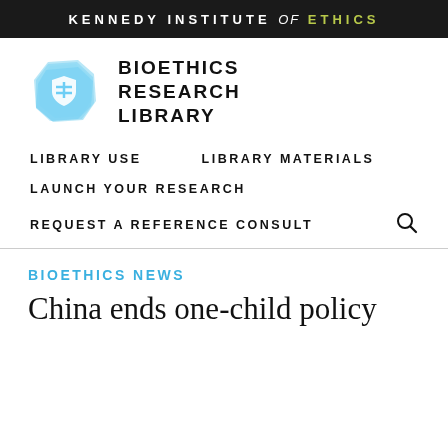KENNEDY INSTITUTE of ETHICS
[Figure (logo): Bioethics Research Library logo: a blue irregular polygon shape with a white shield icon inside, next to bold uppercase text reading BIOETHICS RESEARCH LIBRARY]
BIOETHICS RESEARCH LIBRARY
LIBRARY USE
LIBRARY MATERIALS
LAUNCH YOUR RESEARCH
REQUEST A REFERENCE CONSULT
BIOETHICS NEWS
China ends one-child policy